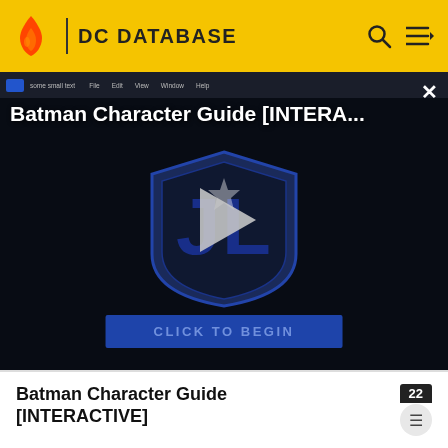DC DATABASE
[Figure (screenshot): Video player screenshot showing 'Batman Character Guide [INTERA...' with a Justice League shield logo and play button overlay, and a 'CLICK TO BEGIN' button at the bottom.]
Batman Character Guide [INTERACTIVE]
enough to hear any sound at any volume or pitch. With skill and concentration, he can block out ambient sounds to focus on a specific source or frequency.